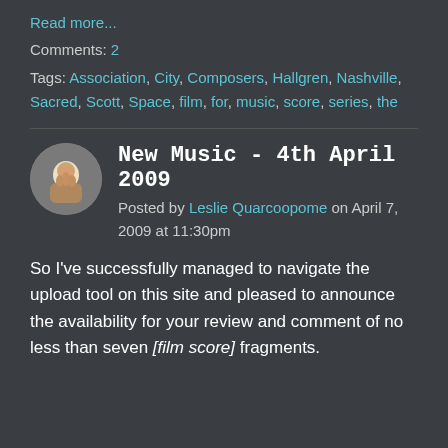Read more...
Comments: 2
Tags: Association, City, Composers, Hallgren, Nashville, Sacred, Scott, Space, film, for, music, score, series, the
New Music - 4th April 2009
Posted by Leslie Quarcoopome on April 7, 2009 at 11:30pm
So I've successfully managed to navigate the upload tool on this site and pleased to announce the availability for your review and comment of no less than seven [film score] fragments.